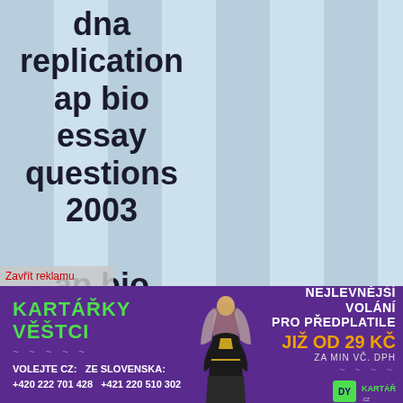dna replication ap bio essay questions 2003 ap bio essay questions
[Figure (illustration): Advertisement banner for Kartářky Věštci psychic/fortune-teller phone service. Purple background with figure of woman in medieval costume. Text: KARTÁŘKY VĚŠTCI, NEJLEVNĚJŠÍ VOLÁNÍ PRO PŘEDPLATILE, JIŽ OD 29 KČ, ZA MIN VČ. DPH, VOLEJTE CZ: +420 222 701 428, ZE SLOVENSKA: +421 220 510 302]